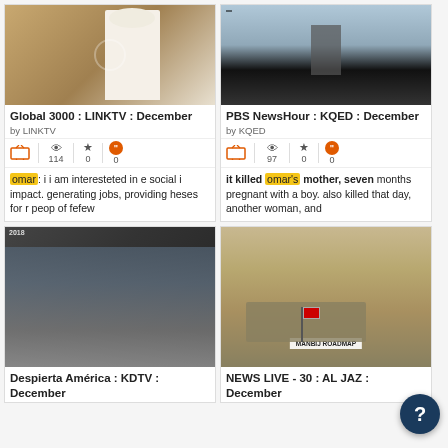[Figure (screenshot): Thumbnail image of a person in white shirt seen from behind near a stone wall]
Global 3000 : LINKTV : December
by LINKTV
114 views, 0 stars, 0 quotes
omar: i i am interesteted in e social i impact. generating jobs, providing heses for r peop of fefew
[Figure (screenshot): Thumbnail image of a weapon on a rooftop, military context]
PBS NewsHour : KQED : December
by KQED
97 views, 0 stars, 0 quotes
it killed omar's mother, seven months pregnant with a boy. also killed that day, another woman, and
[Figure (screenshot): Thumbnail of two men at a restaurant table with food]
Despierta América : KDTV : December
[Figure (screenshot): Thumbnail of military Humvee with US flag, text overlay MANBIJ ROADMAP]
NEWS LIVE - 30 : AL JAZ : December